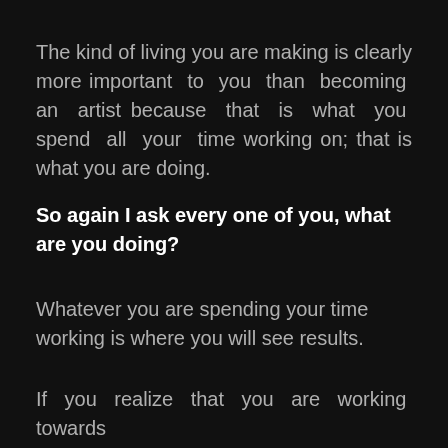The kind of living you are making is clearly more important to you than becoming an artist because that is what you spend all your time working on; that is what you are doing.
So again I ask every one of you, what are you doing?
Whatever you are spending your time working is where you will see results.
If you realize that you are working towards